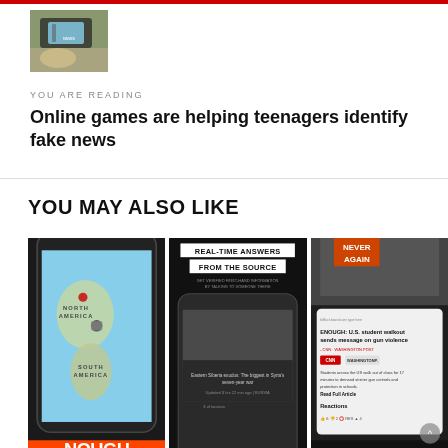[Figure (photo): Small thumbnail photo of a person holding a smartphone, showing a news app]
YOU ARE READING
Online games are helping teenagers identify fake news
YOU MAY ALSO LIKE
[Figure (screenshot): Three smartphone screenshots showing a news aggregation app: (1) a phone displaying a map of North and South America with the word ENOUGH at the bottom, (2) a phone showing 'REAL-TIME ANSWERS FROM THE SOURCE' with a crowd image below, (3) a phone showing 'Never Again' protest sign and a CNN news card about US student walkout on gun violence, with 'FIND YOUR' text at the bottom]